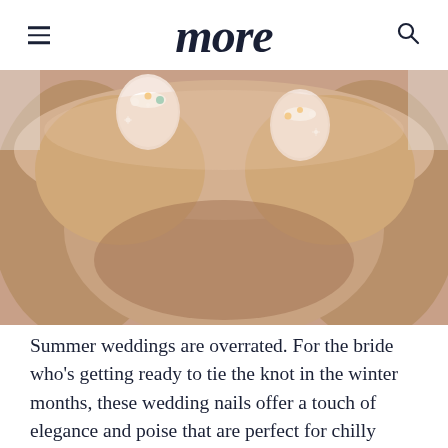more
[Figure (photo): Close-up photo of two hands pressed together showing decorated wedding nails with floral and sparkle nail art designs on a light pink glittery base]
Summer weddings are overrated. For the bride who's getting ready to tie the knot in the winter months, these wedding nails offer a touch of elegance and poise that are perfect for chilly